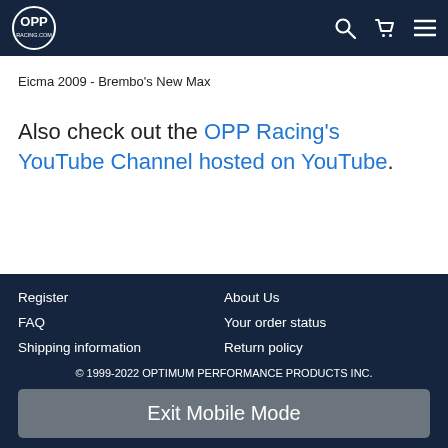OPP Racing.com
Eicma 2009 - Brembo's New Max
Also check out the OPP Racing's YouTube Channel hosted on YouTube.
Register | FAQ | Shipping information | About Us | Your order status | Return policy | © 1999-2022 OPTIMUM PERFORMANCE PRODUCTS INC. | Exit Mobile Mode